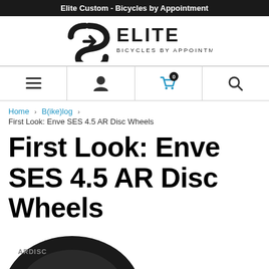Elite Custom - Bicycles by Appointment
[Figure (logo): Elite Bicycles by Appointment logo with stylized S-shaped emblem and bold ELITE text]
[Figure (screenshot): Navigation bar with hamburger menu, user account icon, shopping cart with badge showing 0 items, and search icon]
Home › B(ike)log ›
First Look: Enve SES 4.5 AR Disc Wheels
First Look: Enve SES 4.5 AR Disc Wheels
[Figure (photo): Partial view of a dark-colored ENVE AR Disc wheel at the bottom of the page]